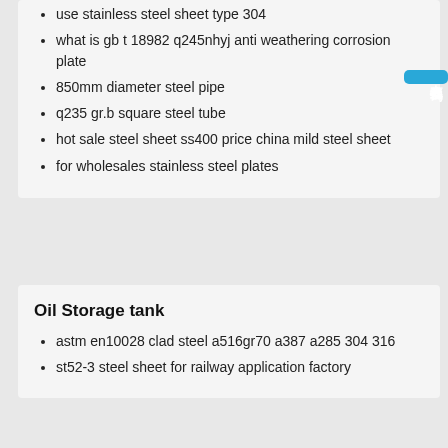use stainless steel sheet type 304
what is gb t 18982 q245nhyj anti weathering corrosion plate
850mm diameter steel pipe
q235 gr.b square steel tube
hot sale steel sheet ss400 price china mild steel sheet
for wholesales stainless steel plates
Oil Storage tank
astm en10028 clad steel a516gr70 a387 a285 304 316
st52-3 steel sheet for railway application factory